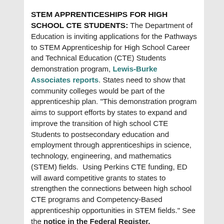STEM APPRENTICESHIPS FOR HIGH SCHOOL CTE STUDENTS: The Department of Education is inviting applications for the Pathways to STEM Apprenticeship for High School Career and Technical Education (CTE) Students demonstration program, Lewis-Burke Associates reports. States need to show that community colleges would be part of the apprenticeship plan. "This demonstration program aims to support efforts by states to expand and improve the transition of high school CTE Students to postsecondary education and employment through apprenticeships in science, technology, engineering, and mathematics (STEM) fields.  Using Perkins CTE funding, ED will award competitive grants to states to strengthen the connections between high school CTE programs and Competency-Based apprenticeship opportunities in STEM fields." See the notice in the Federal Register.
NIH EARLY-CAREER GRANT PROCESS 'SKEWS MALE': So reports ScienceInsider. Since the National Institutes of Health launched the Early Independence Awards in 2010, "men